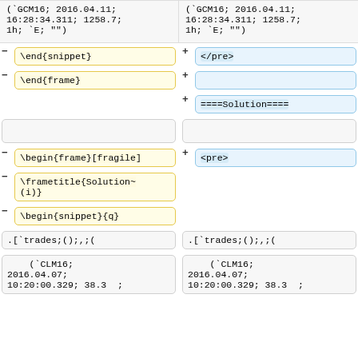(`GCM16; 2016.04.11;
16:28:34.311; 1258.7;
1h; `E; "")
(`GCM16; 2016.04.11;
16:28:34.311; 1258.7;
1h; `E; "")
\end{snippet}
</pre>
\end{frame}
====Solution====
\begin{frame}[fragile]
<pre>
\frametitle{Solution~
(i)}
\begin{snippet}{q}
.[`trades;();,;(
.[`trades;();,;(
(`CLM16;
2016.04.07;
10:20:00.329; 38.3  ;
(`CLM16;
2016.04.07;
10:20:00.329; 38.3  ;